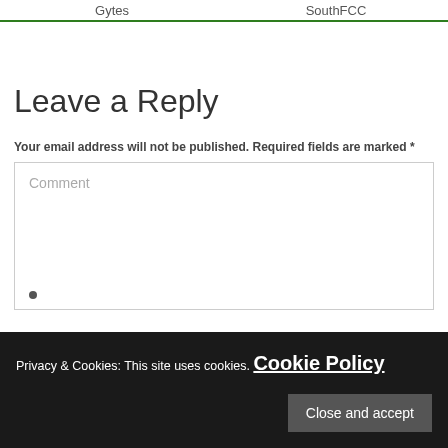| Gytes | SouthFCC |
| --- | --- |
Leave a Reply
Your email address will not be published. Required fields are marked *
Comment
Privacy & Cookies: This site uses cookies. Cookie Policy
Close and accept